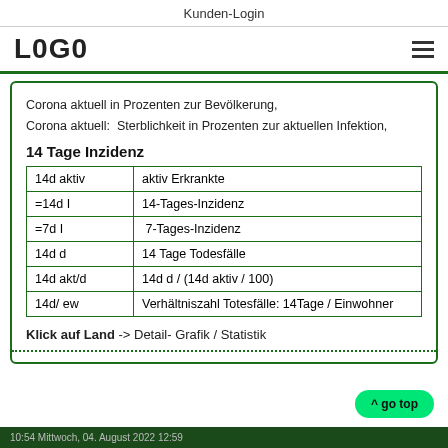Kunden-Login
L0G0
Corona aktuell in Prozenten zur Bevölkerung,
Corona aktuell:  Sterblichkeit in Prozenten zur aktuellen Infektion,
14 Tage Inzidenz
| 14d aktiv | aktiv Erkrankte |
| =14d I | 14-Tages-Inzidenz |
| =7d I |  7-Tages-Inzidenz |
| 14d d | 14 Tage Todesfälle |
| 14d akt/d | 14d d / (14d aktiv / 100) |
| 14d/ ew | Verhältniszahl Totesfälle: 14Tage / Einwohner |
Klick auf Land -> Detail- Grafik / Statistik
10:54 Mittwoch, 04. August 2022 12:59